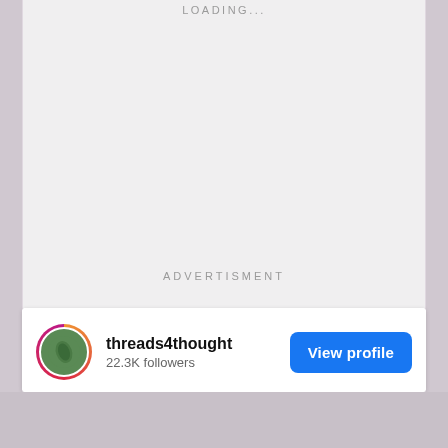LOADING...
ADVERTISMENT
[Figure (screenshot): Instagram ad card for threads4thought showing profile with 22.3K followers, a View profile button, and a photo of a smiling woman with braids outdoors near a brick wall and window]